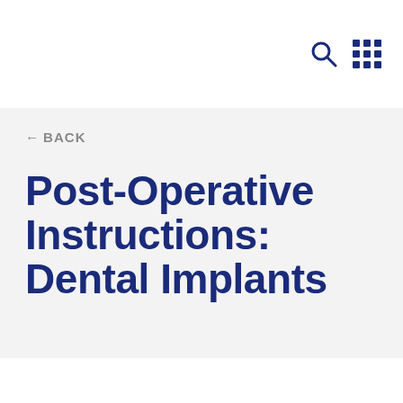[Figure (screenshot): Top navigation bar with search icon and grid/apps icon on white background]
← BACK
Post-Operative Instructions: Dental Implants